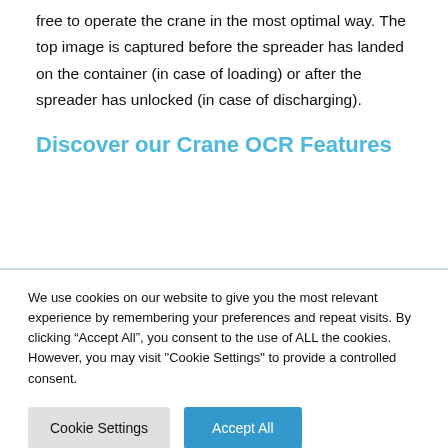free to operate the crane in the most optimal way. The top image is captured before the spreader has landed on the container (in case of loading) or after the spreader has unlocked (in case of discharging).
Discover our Crane OCR Features
We use cookies on our website to give you the most relevant experience by remembering your preferences and repeat visits. By clicking “Accept All”, you consent to the use of ALL the cookies. However, you may visit "Cookie Settings" to provide a controlled consent.